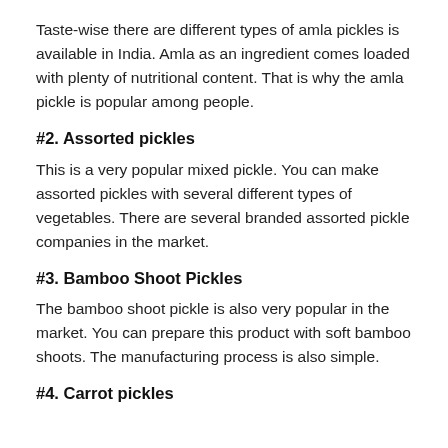Taste-wise there are different types of amla pickles is available in India. Amla as an ingredient comes loaded with plenty of nutritional content. That is why the amla pickle is popular among people.
#2. Assorted pickles
This is a very popular mixed pickle. You can make assorted pickles with several different types of vegetables. There are several branded assorted pickle companies in the market.
#3. Bamboo Shoot Pickles
The bamboo shoot pickle is also very popular in the market. You can prepare this product with soft bamboo shoots. The manufacturing process is also simple.
#4. Carrot pickles